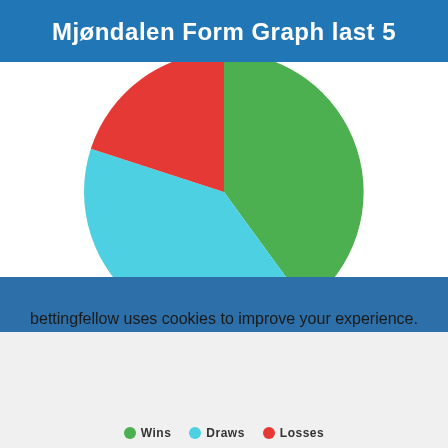Mjøndalen Form Graph last 5
[Figure (pie-chart): Mjøndalen Form Graph last 5]
bettingfellow uses cookies to improve your experience. By continuing to use this site you accept our terms & conditions. Learn more
Got it